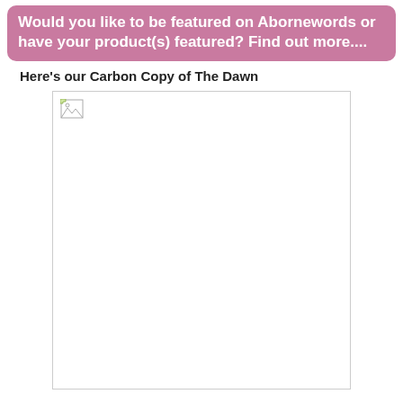Would you like to be featured on Abornewords or have your product(s) featured? Find out more....
Here's our Carbon Copy of The Dawn
[Figure (photo): A broken/missing image placeholder representing a photo related to 'Carbon Copy of The Dawn']